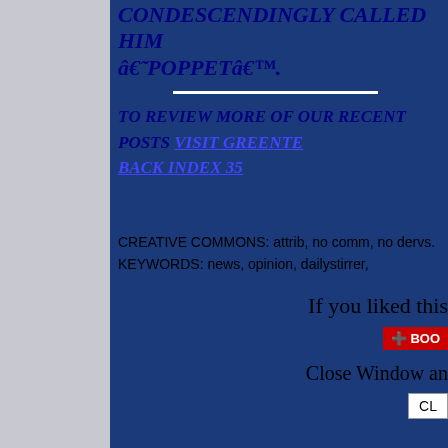CONDESCENDINGLY CALLED HIM â€˜POPPETâ€™.
To review more of our recent posts visit Greente... Back Index 35
CREATIVE COMMONS: attrib, no comm, no dervs.
KEYWORDS: news, opinion, dailystirrer,
If you liked this
[Figure (other): Bookmarking button with BOO label]
Close Window an
[Figure (other): Close button UI element labeled CL]